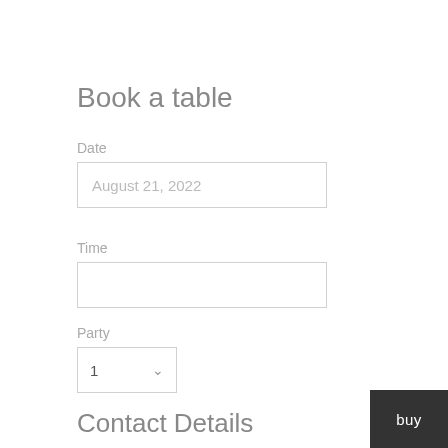Book a table
Date
August 21, 2022
Time
Party
1
Contact Details
Name
buy